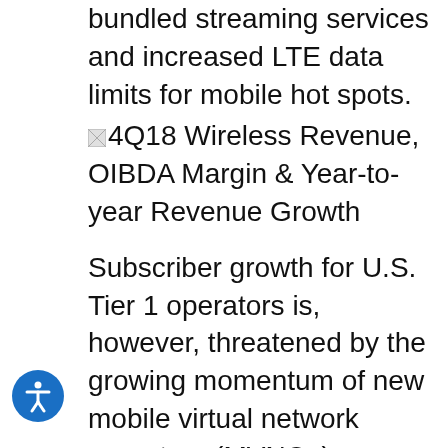bundled streaming services and increased LTE data limits for mobile hot spots.
4Q18 Wireless Revenue, OIBDA Margin & Year-to-year Revenue Growth
Subscriber growth for U.S. Tier 1 operators is, however, threatened by the growing momentum of new mobile virtual network operators (MVNOs) entering the market. Comcast's Xfinity Mobile and Charter's Spectrum Mobile are attracting wireless customers via low price points and the convenience of being able to enroll in multiple services through a single provider. Altice also plans on providing wireless services in 1H19, giving the company the opportunity to cross-sell mobility services to